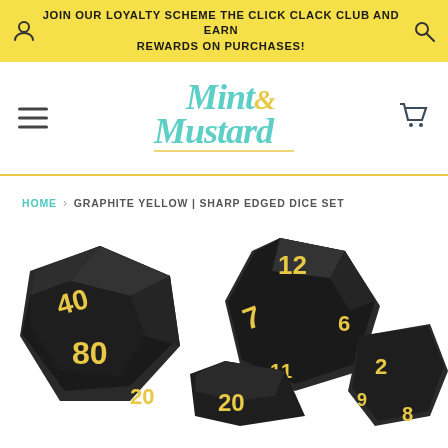JOIN OUR LOYALTY SCHEME THE CLICK CLACK CLUB AND EARN REWARDS ON PURCHASES!
[Figure (logo): Mint & Mustard logo in teal/mint script font with yellow ampersand, underlined]
HOME › GRAPHITE YELLOW | SHARP EDGED DICE SET
[Figure (photo): Black sharp-edged polyhedral dice set with yellow numbers on white background. Visible dice include a d10 showing 40/80, a d12 showing 12/7/6/11, a d20 showing 20/11, and partial views of other dice showing numbers 2, 9, 8, 20.]